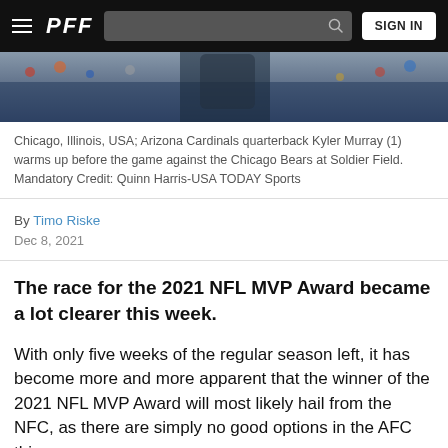PFF | SIGN IN
[Figure (photo): Partial view of an NFL player in uniform, appears to be warming up on a football field with crowd in the background.]
Chicago, Illinois, USA; Arizona Cardinals quarterback Kyler Murray (1) warms up before the game against the Chicago Bears at Soldier Field. Mandatory Credit: Quinn Harris-USA TODAY Sports
By Timo Riske
Dec 8, 2021
The race for the 2021 NFL MVP Award became a lot clearer this week.
With only five weeks of the regular season left, it has become more and more apparent that the winner of the 2021 NFL MVP Award will most likely hail from the NFC, as there are simply no good options in the AFC this season.